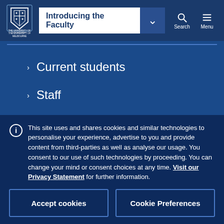[Figure (logo): University of Melbourne crest logo in white on dark blue background]
Introducing the Faculty
Current students
Staff
This site uses and shares cookies and similar technologies to personalise your experience, advertise to you and provide content from third-parties as well as analyse our usage. You consent to our use of such technologies by proceeding. You can change your mind or consent choices at any time. Visit our Privacy Statement for further information.
Accept cookies
Cookie Preferences